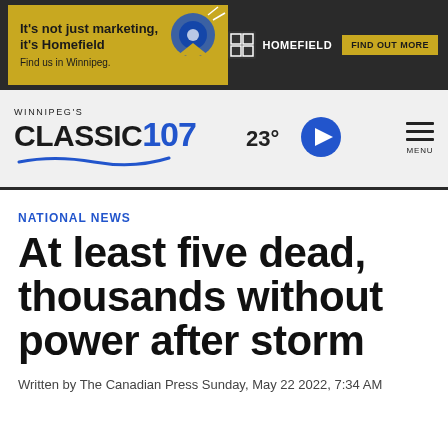[Figure (infographic): Advertisement banner: 'It's not just marketing, it's Homefield. Find us in Winnipeg.' with Homefield logo and 'FIND OUT MORE' button on dark background]
[Figure (logo): Winnipeg's Classic 107 radio station logo with blue wave, temperature display '23°', blue play button circle, and hamburger menu icon labeled MENU]
NATIONAL NEWS
At least five dead, thousands without power after storm
Written by The Canadian Press Sunday, May 22 2022, 7:34 AM